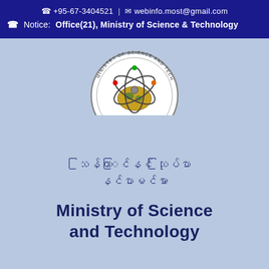☎ +95-67-3404521 | ✉ webinfo.most@gmail.com
☎ Notice: Office(21), Ministry of Science & Technology
[Figure (logo): Circular seal/logo of the Ministry of Science and Technology, Myanmar. Shows atomic orbit symbol over a globe, with text 'MINISTRY OF SCIENCE AND TECHNOLOGY' around the border.]
မြန်မာနိုင်ငံ သိပ္ပံနှင့် နည်းပညာဝန်ကြီးဌာန
Ministry of Science and Technology